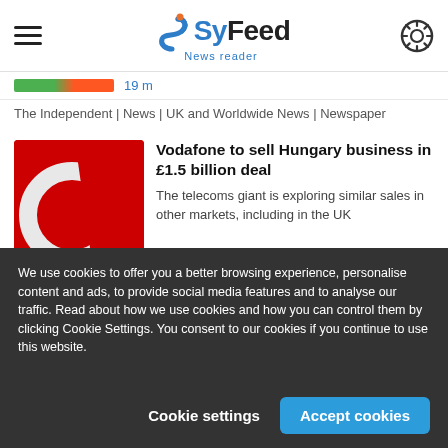SyFeed — News reader
19 m
The Independent | News | UK and Worldwide News | Newspaper
Vodafone to sell Hungary business in £1.5 billion deal
The telecoms giant is exploring similar sales in other markets, including in the UK
20 m
We use cookies to offer you a better browsing experience, personalise content and ads, to provide social media features and to analyse our traffic. Read about how we use cookies and how you can control them by clicking Cookie Settings. You consent to our cookies if you continue to use this website.
Cookie settings
Accept cookies